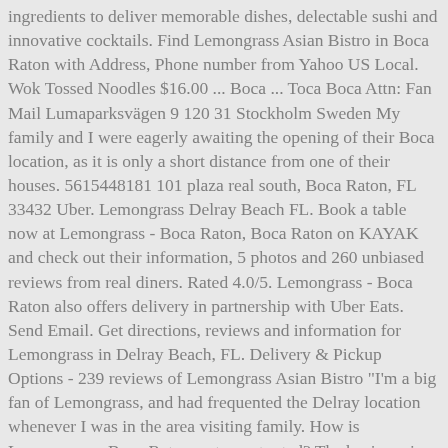ingredients to deliver memorable dishes, delectable sushi and innovative cocktails. Find Lemongrass Asian Bistro in Boca Raton with Address, Phone number from Yahoo US Local. Wok Tossed Noodles $16.00 ... Boca ... Toca Boca Attn: Fan Mail Lumaparksvägen 9 120 31 Stockholm Sweden My family and I were eagerly awaiting the opening of their Boca location, as it is only a short distance from one of their houses. 5615448181 101 plaza real south, Boca Raton, FL 33432 Uber. Lemongrass Delray Beach FL. Book a table now at Lemongrass - Boca Raton, Boca Raton on KAYAK and check out their information, 5 photos and 260 unbiased reviews from real diners. Rated 4.0/5. Lemongrass - Boca Raton also offers delivery in partnership with Uber Eats. Send Email. Get directions, reviews and information for Lemongrass in Delray Beach, FL. Delivery & Pickup Options - 239 reviews of Lemongrass Asian Bistro "I'm a big fan of Lemongrass, and had frequented the Delray location whenever I was in the area visiting family. How is Lemongrass - Boca Raton restaurant rated? The business is located in 21073 Powerline Rd, Boca Raton, FL 33433, USA. Make a reservation. Lemongrass Spa Products, LLC 316 Mt. #teamlemongrass Established in... Located in Delray Beach, Miami. Reviews on Lemongrass Restaurant in Boca Raton, FL, United States - Lemongrass Asian Bistro, Lemongrass Hot Pot, Bonjour Vietnam, Alana Dumplings, Basilic Vietnamese Grill, Yakitori Sake House, M&